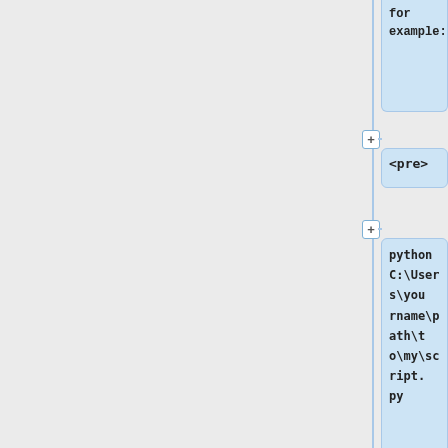for example:
<pre>
python C:\Users\username\path\to\my\script.py
</pre>
== Computing slope ==
Make sure you set computational region to match your DEM. We will use raster DEM